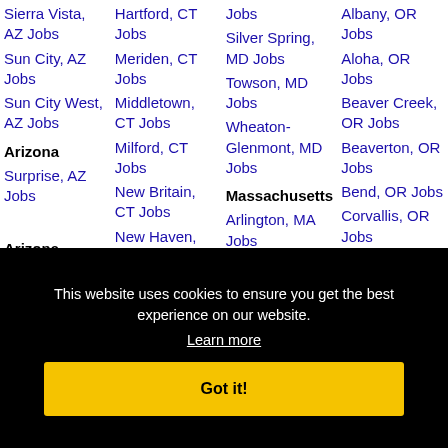Sierra Vista, AZ Jobs
Sun City, AZ Jobs
Sun City West, AZ Jobs
Arizona
Surprise, AZ Jobs
Arizona
Hartford, CT Jobs
Meriden, CT Jobs
Middletown, CT Jobs
Milford, CT Jobs
New Britain, CT Jobs
New Haven, CT Jobs
Norwalk, CT
Silver Spring, MD Jobs
Towson, MD Jobs
Wheaton-Glenmont, MD Jobs
Massachusetts
Arlington, MA Jobs
Attleboro, MA
Albany, OR Jobs
Aloha, OR Jobs
Beaver Creek, OR Jobs
Beaverton, OR Jobs
Bend, OR Jobs
Corvallis, OR Jobs
Eugene, OR Jobs
This website uses cookies to ensure you get the best experience on our website.
Learn more
Got it!
Fayetteville,
CT Jobs
Jobs
Cambridge, MA
Springfield, OR